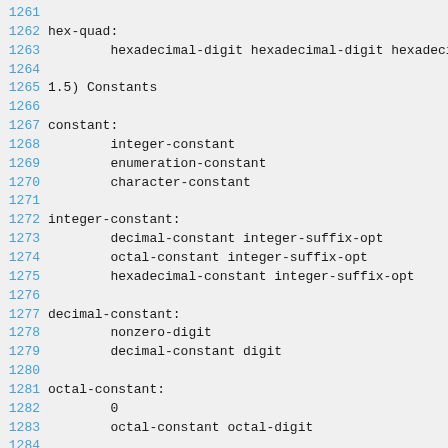1261
1262 hex-quad:
1263         hexadecimal-digit hexadecimal-digit hexadecimal-digit hexadecimal-digit
1264
1265 1.5) Constants
1266
1267 constant:
1268         integer-constant
1269         enumeration-constant
1270         character-constant
1271
1272 integer-constant:
1273         decimal-constant integer-suffix-opt
1274         octal-constant integer-suffix-opt
1275         hexadecimal-constant integer-suffix-opt
1276
1277 decimal-constant:
1278         nonzero-digit
1279         decimal-constant digit
1280
1281 octal-constant:
1282         0
1283         octal-constant octal-digit
1284